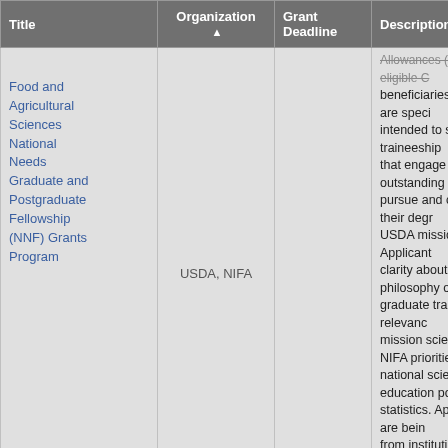| Title | Organization ▲ | Grant Deadline | Description |
| --- | --- | --- | --- |
| Food and Agricultural Sciences National Needs Graduate and Postgraduate Fellowship (NNF) Grants Program | USDA, NIFA |  | Allowances (NIFA) for eligible C beneficiaries. Awards are speci intended to support traineeship that engage outstanding studen pursue and complete their degr USDA mission areas. Applicant clarity about the philosophy of t graduate training, and relevanc mission sciences, NIFA prioritie national science education poli statistics. Applications are bein from institutions that confer a g degree in at least one of the fol Targeted Expertise Shortage A animal and plant production; 2) resources; 3) agricultural educa communicators; 4) agricultural management and economics; 5 science and human nutrition; 6 for agricultural biosecurity; and in integrative biosciences for su food and agricultural systems. |